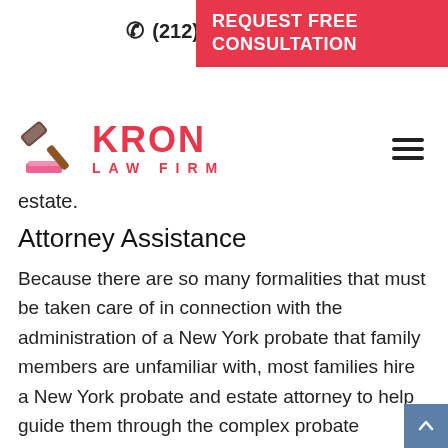(212) 658-0169  REQUEST FREE CONSULTATION
[Figure (logo): Kron Law Firm logo with gavel icon and red KRON LAW FIRM text]
estate.
Attorney Assistance
Because there are so many formalities that must be taken care of in connection with the administration of a New York probate that family members are unfamiliar with, most families hire a New York probate and estate attorney to help guide them through the complex probate process. It is comforting for the family to be able to rely on the expertise and advice of St. Pre Law Firm P.C. to handle